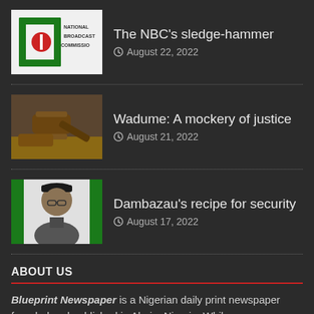[Figure (logo): National Broadcast Commission (NBC) green and red logo on white background]
The NBC's sledge-hammer
August 22, 2022
[Figure (photo): A wooden judge's gavel on a wooden surface]
Wadume: A mockery of justice
August 21, 2022
[Figure (photo): Portrait of a man wearing a black cap and glasses in front of a flag background]
Dambazau's recipe for security
August 17, 2022
ABOUT US
Blueprint Newspaper is a Nigerian daily print newspaper founded and published in Abuja, Nigeria. While https://blueprint.ng is the online version